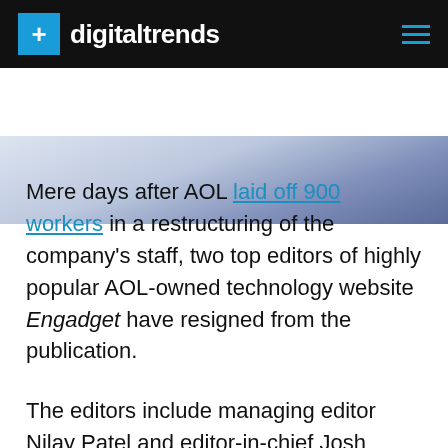digitaltrends
[Figure (photo): Partial photo of a person in a suit, cropped at top of page below header bar]
Mere days after AOL laid off 900 workers in a restructuring of the company's staff, two top editors of highly popular AOL-owned technology website Engadget have resigned from the publication.
The editors include managing editor Nilay Patel and editor-in-chief Josh Topolsky (pictured above). News of their departures